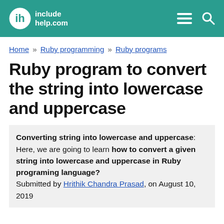includehelp.com
Home » Ruby programming » Ruby programs
Ruby program to convert the string into lowercase and uppercase
Converting string into lowercase and uppercase: Here, we are going to learn how to convert a given string into lowercase and uppercase in Ruby programing language? Submitted by Hrithik Chandra Prasad, on August 10, 2019